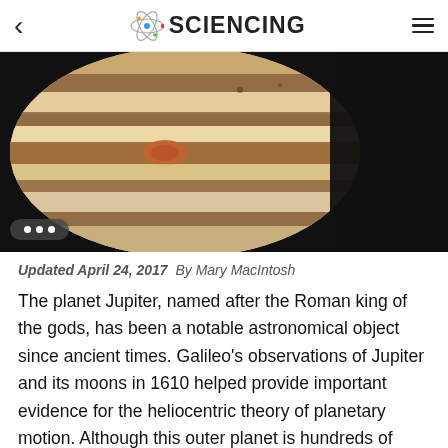< SCIENCING ≡
[Figure (photo): Close-up photo of Jupiter showing its distinctive bands and the Great Red Spot, with a dark/black background on the right side.]
Updated April 24, 2017  By Mary MacIntosh
The planet Jupiter, named after the Roman king of the gods, has been a notable astronomical object since ancient times. Galileo's observations of Jupiter and its moons in 1610 helped provide important evidence for the heliocentric theory of planetary motion. Although this outer planet is hundreds of millions of miles from Earth at closest